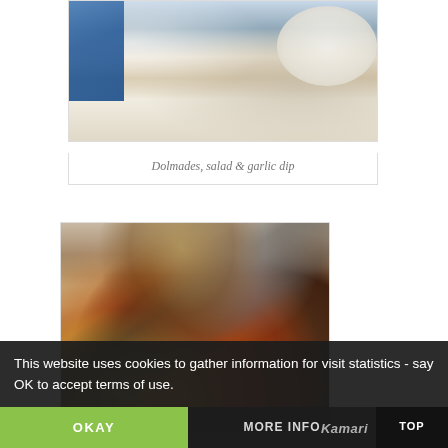[Figure (photo): Photo of dolmades, salad and garlic dip on a table with blue tablecloth and white plate]
Dolmades, salad & garlic dip
[Figure (photo): Photo of a seafood dish (shrimp/shellfish in tomato sauce) with a lemon wedge, spoon, condiment bottles and striped tablecloth visible]
This website uses cookies to gather information for visit statistics - say OK to accept terms of use.
OKAY
MORE INFO
TOP
Kamari